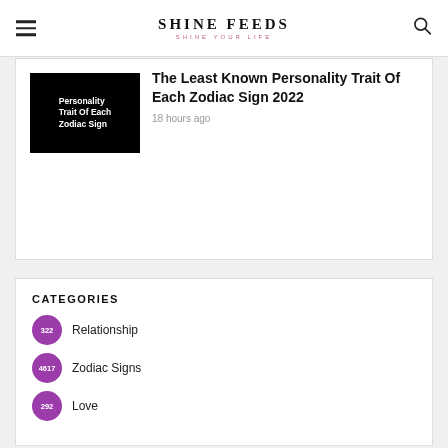SHINE FEEDS · SHINE YOUR LIFE
[Figure (photo): Thumbnail image with black background showing text: Personality Trait Of Each Zodiac Sign]
The Least Known Personality Trait Of Each Zodiac Sign 2022
18 hours ago
CATEGORIES
322 Relationship
4617 Zodiac Signs
292 Love